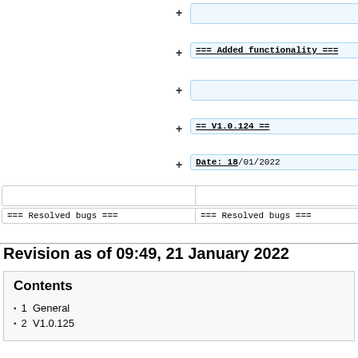[Figure (screenshot): Diff view showing added lines in right column: empty box, '=== Added functionality ===', empty box, '== V1.0.124 ==', 'Date: 18/01/2022', and lower section with empty boxes and '=== Resolved bugs ===' on both left and right columns]
Revision as of 09:49, 21 January 2022
Contents
1  General
2  V1.0.125